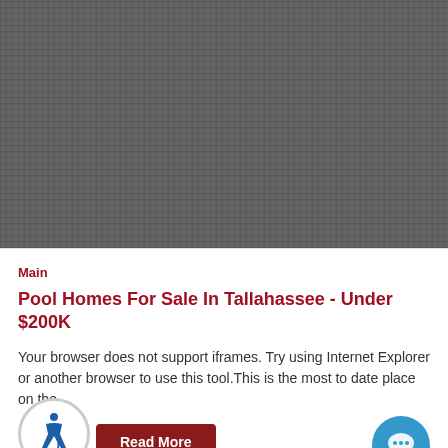[Figure (photo): Dark gray textured image placeholder area, appears to be a pool home listing image that did not load]
Main
Pool Homes For Sale In Tallahassee - Under $200K
Your browser does not support iframes. Try using Internet Explorer or another browser to use this tool.This is the most to date place on the ...